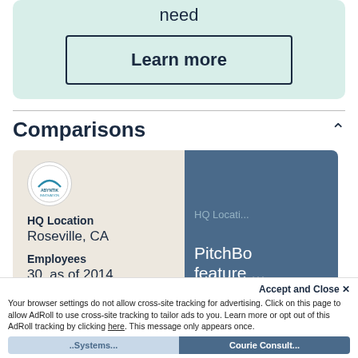need
Learn more
Comparisons
[Figure (logo): ABYNTIK company logo inside a white circle]
HQ Location
Roseville, CA
Employees
30, as of 2014
PitchBo...
feature ...
Accept and Close ✕
Your browser settings do not allow cross-site tracking for advertising. Click on this page to allow AdRoll to use cross-site tracking to tailor ads to you. Learn more or opt out of this AdRoll tracking by clicking here. This message only appears once.